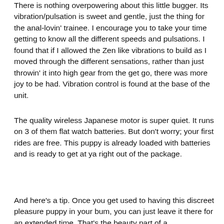There is nothing overpowering about this little bugger. Its vibration/pulsation is sweet and gentle, just the thing for the anal-lovin' trainee. I encourage you to take your time getting to know all the different speeds and pulsations. I found that if I allowed the Zen like vibrations to build as I moved through the different sensations, rather than just throwin' it into high gear from the get go, there was more joy to be had. Vibration control is found at the base of the unit.
The quality wireless Japanese motor is super quiet. It runs on 3 of them flat watch batteries. But don't worry; your first rides are free. This puppy is already loaded with batteries and is ready to get at ya right out of the package.
And here's a tip. Once you get used to having this discreet pleasure puppy in your bum, you can just leave it there for an extended time. That's the beauty part of a